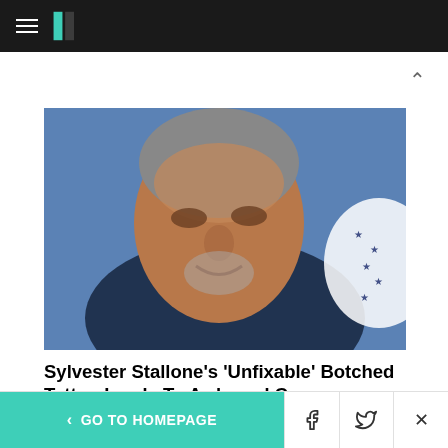HuffPost navigation bar with hamburger menu and logo
[Figure (photo): Sylvester Stallone smiling at a formal event, wearing a dark suit, with a blue background and a partial white logo with stars visible on the right]
Sylvester Stallone's 'Unfixable' Botched Tattoo Leads To Awkward Coverup
HuffPost
[Figure (photo): Partial photo of a person, cropped at bottom of page]
< GO TO HOMEPAGE   [Facebook icon]   [Twitter icon]   X